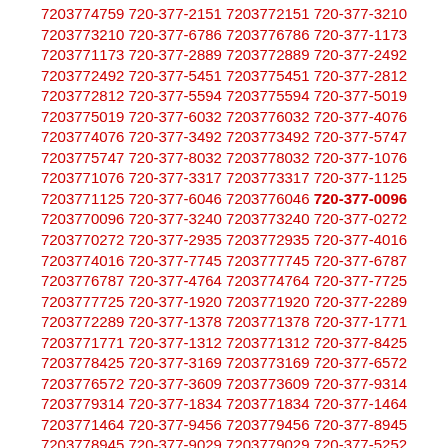7203774759 720-377-2151 7203772151 720-377-3210 7203773210 720-377-6786 7203776786 720-377-1173 7203771173 720-377-2889 7203772889 720-377-2492 7203772492 720-377-5451 7203775451 720-377-2812 7203772812 720-377-5594 7203775594 720-377-5019 7203775019 720-377-6032 7203776032 720-377-4076 7203774076 720-377-3492 7203773492 720-377-5747 7203775747 720-377-8032 7203778032 720-377-1076 7203771076 720-377-3317 7203773317 720-377-1125 7203771125 720-377-6046 7203776046 720-377-0096 7203770096 720-377-3240 7203773240 720-377-0272 7203770272 720-377-2935 7203772935 720-377-4016 7203774016 720-377-7745 7203777745 720-377-6787 7203776787 720-377-4764 7203774764 720-377-7725 7203777725 720-377-1920 7203771920 720-377-2289 7203772289 720-377-1378 7203771378 720-377-1771 7203771771 720-377-1312 7203771312 720-377-8425 7203778425 720-377-3169 7203773169 720-377-6572 7203776572 720-377-3609 7203773609 720-377-9314 7203779314 720-377-1834 7203771834 720-377-1464 7203771464 720-377-9456 7203779456 720-377-8945 7203778945 720-377-9029 7203779029 720-377-5252 7203775252 720-377-2337 7203772337 720-377-4380 7203774380 720-377-1981 7203771981 720-377-6041 7203776041 720-377-9377 7203779377 720-377-0117